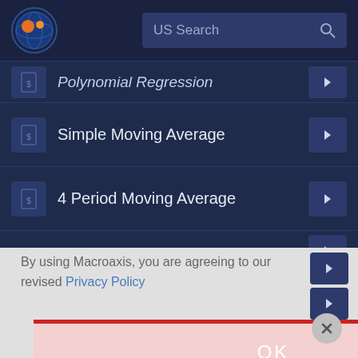[Figure (screenshot): Macroaxis website header with logo (orange and dark blue globe icon) and US Search bar]
Polynomial Regression
Simple Moving Average
4 Period Moving Average
By using Macroaxis, you are agreeing to our revised Privacy Policy
OK